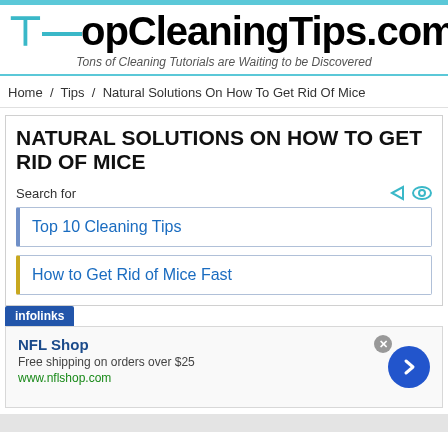TopCleaningTips.com — Tons of Cleaning Tutorials are Waiting to be Discovered
Home / Tips / Natural Solutions On How To Get Rid Of Mice
NATURAL SOLUTIONS ON HOW TO GET RID OF MICE
Search for
Top 10 Cleaning Tips
How to Get Rid of Mice Fast
infolinks
NFL Shop
Free shipping on orders over $25
www.nflshop.com